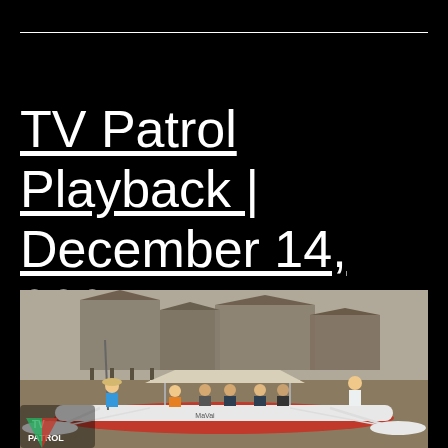TV Patrol Playback | December 14, 2021
[Figure (photo): People sitting on a traditional Filipino outrigger boat (bangka) on muddy water, with stilt houses visible in the background. A TV Patrol logo watermark is visible in the bottom-left corner of the image.]